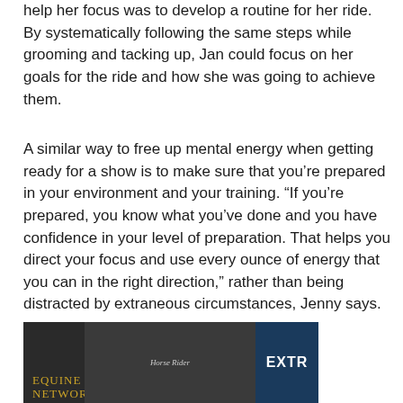help her focus was to develop a routine for her ride. By systematically following the same steps while grooming and tacking up, Jan could focus on her goals for the ride and how she was going to achieve them.
A similar way to free up mental energy when getting ready for a show is to make sure that you’re prepared in your environment and your training. “If you’re prepared, you know what you’ve done and you have confidence in your level of preparation. That helps you direct your focus and use every ounce of energy that you can in the right direction,” rather than being distracted by extraneous circumstances, Jenny says.
[Figure (photo): Equine Network logo on dark background with a horse silhouette graphic in gold, alongside what appears to be a magazine or book cover and a dark blue panel with text 'EXTR' visible.]